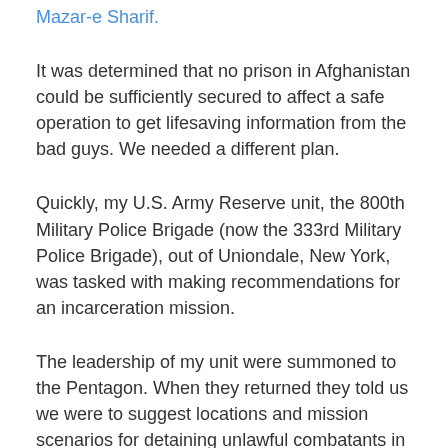Mazar-e Sharif.
It was determined that no prison in Afghanistan could be sufficiently secured to affect a safe operation to get lifesaving information from the bad guys. We needed a different plan.
Quickly, my U.S. Army Reserve unit, the 800th Military Police Brigade (now the 333rd Military Police Brigade), out of Uniondale, New York, was tasked with making recommendations for an incarceration mission.
The leadership of my unit were summoned to the Pentagon. When they returned they told us we were to suggest locations and mission scenarios for detaining unlawful combatants in the Global War on Terror.
We discussed Guam, Guantanamo Bay, Diego Garcia,